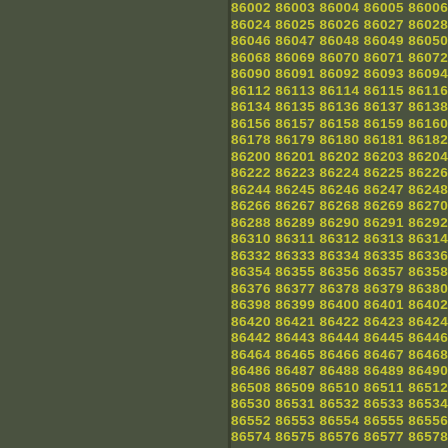86002 86003 86004 86005 86006 86007 8600... 86024 86025 86026 86027 86028 86029 8603... 86046 86047 86048 86049 86050 86051 8605... 86068 86069 86070 86071 86072 86073 8607... 86090 86091 86092 86093 86094 86095 8609... 86112 86113 86114 86115 86116 86117 8611... 86134 86135 86136 86137 86138 86139 8614... 86156 86157 86158 86159 86160 86161 8616... 86178 86179 86180 86181 86182 86183 8618... 86200 86201 86202 86203 86204 86205 8620... 86222 86223 86224 86225 86226 86227 8622... 86244 86245 86246 86247 86248 86249 8625... 86266 86267 86268 86269 86270 86271 8627... 86288 86289 86290 86291 86292 86293 8629... 86310 86311 86312 86313 86314 86315 8631... 86332 86333 86334 86335 86336 86337 8633... 86354 86355 86356 86357 86358 86359 8636... 86376 86377 86378 86379 86380 86381 8638... 86398 86399 86400 86401 86402 86403 8640... 86420 86421 86422 86423 86424 86425 8642... 86442 86443 86444 86445 86446 86447 8644... 86464 86465 86466 86467 86468 86469 8647... 86486 86487 86488 86489 86490 86491 8649... 86508 86509 86510 86511 86512 86513 8651... 86530 86531 86532 86533 86534 86535 8653... 86552 86553 86554 86555 86556 86557 8655... 86574 86575 86576 86577 86578 86579 8658... 86596 86597 86598 86599 86600 86601 8660... 86618 86619 86620 86621 86622 86623 8662... 86640 86641 86642 86643 86644 86645 8664... 86662 86663 86664 86665 86666 86667 8666... 86684 86685 86686 86687 86688 86689 8669... 86706 86707 86708 86709 86710 86711 8671... 86728 86729 86730 86731 86732 86733 8673... 86750 86751 86752 86753 86754 86755 8675... 86772 86773 86774 86775 86776 86777 8677... 86794 86795 86796 86797 86798 86799 8680... 86816 86817 86818 86819 86820 86821 8682...